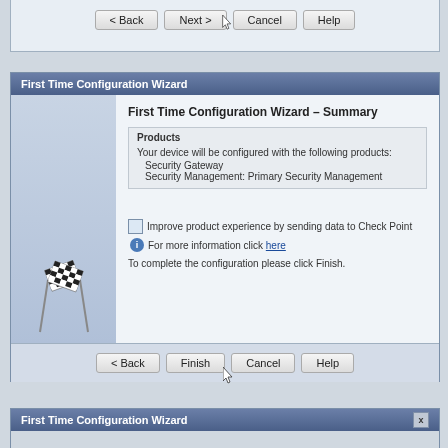[Figure (screenshot): Top fragment of a wizard dialog showing navigation buttons: < Back, Next >, Cancel, Help with cursor on Next button]
[Figure (screenshot): First Time Configuration Wizard - Summary screen showing Products section with Security Gateway and Security Management: Primary Security Management listed, checkbox for improving product experience, info link, finish instruction, checkered flags image, and bottom navigation buttons < Back, Finish (with cursor), Cancel, Help]
[Figure (screenshot): Bottom fragment of First Time Configuration Wizard dialog title bar with X close button]